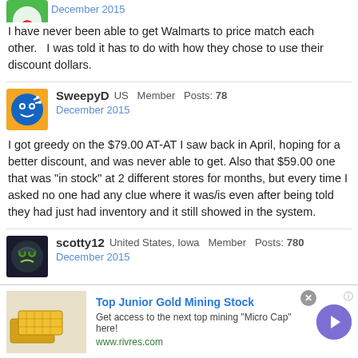December 2015
I have never been able to get Walmarts to price match each other.   I was told it has to do with how they chose to use their discount dollars.
SweepyD US  Member  Posts: 78
December 2015
I got greedy on the $79.00 AT-AT I saw back in April, hoping for a better discount, and was never able to get. Also that $59.00 one that was "in stock" at 2 different stores for months, but every time I asked no one had any clue where it was/is even after being told they had just had inventory and it still showed in the system.
scotty12  United States, Iowa  Member  Posts: 780
December 2015
Only tempted by a few things...#75094 Imperial Shuttle for $74 otherwise it was only 20-30% off Super Heroes (#76030 Avengers Tower Takedown $35)... I was more tempted at the Farm and Fleet stores (either a Blaine...
[Figure (infographic): Advertisement banner: Top Junior Gold Mining Stock. Gold bar image on left, text in middle, purple circle arrow button on right. www.rivres.com]